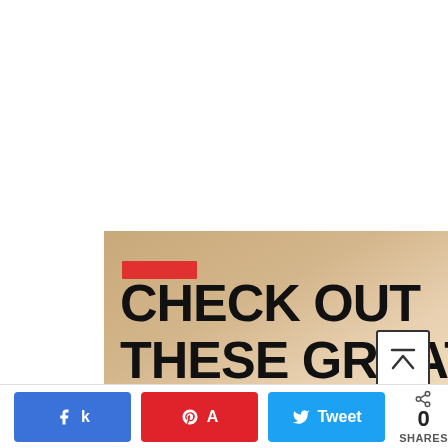[Figure (illustration): Promotional image with tan/kraft paper textured background, a red horizontal rectangle accent bar, and bold black text reading 'CHECK OUT THESE GREAT RESOURCES!' in large uppercase sans-serif letters]
[Figure (other): Back-to-top button: white square with dark border and upward-pointing caret/chevron arrow]
k 0  A  Tweet  0  SHARES